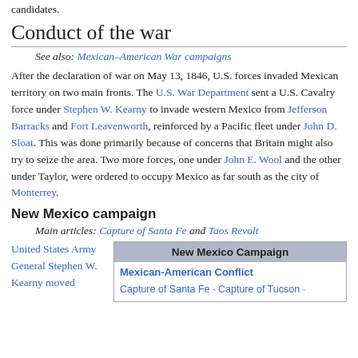candidates.
Conduct of the war
See also: Mexican–American War campaigns
After the declaration of war on May 13, 1846, U.S. forces invaded Mexican territory on two main fronts. The U.S. War Department sent a U.S. Cavalry force under Stephen W. Kearny to invade western Mexico from Jefferson Barracks and Fort Leavenworth, reinforced by a Pacific fleet under John D. Sloat. This was done primarily because of concerns that Britain might also try to seize the area. Two more forces, one under John E. Wool and the other under Taylor, were ordered to occupy Mexico as far south as the city of Monterrey.
New Mexico campaign
Main articles: Capture of Santa Fe and Taos Revolt
United States Army General Stephen W. Kearny moved
| New Mexico Campaign |
| --- |
| Mexican-American Conflict |
| Capture of Santa Fe · Capture of Tucson · |